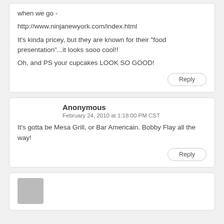when we go -

http://www.ninjanewyork.com/index.html

It's kinda pricey, but they are known for their "food presentation"...it looks sooo cool!!

Oh, and PS your cupcakes LOOK SO GOOD!
Reply
Anonymous
February 24, 2010 at 1:18:00 PM CST
It's gotta be Mesa Grill, or Bar Americain. Bobby Flay all the way!
Reply